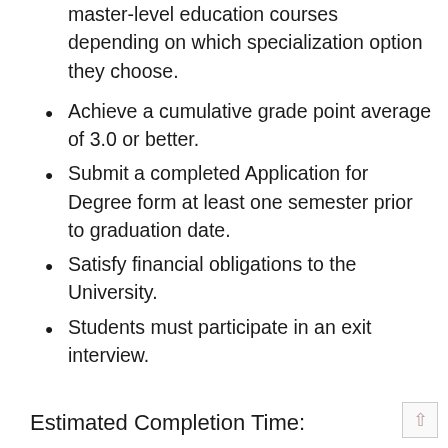master-level education courses depending on which specialization option they choose.
Achieve a cumulative grade point average of 3.0 or better.
Submit a completed Application for Degree form at least one semester prior to graduation date.
Satisfy financial obligations to the University.
Students must participate in an exit interview.
Estimated Completion Time: